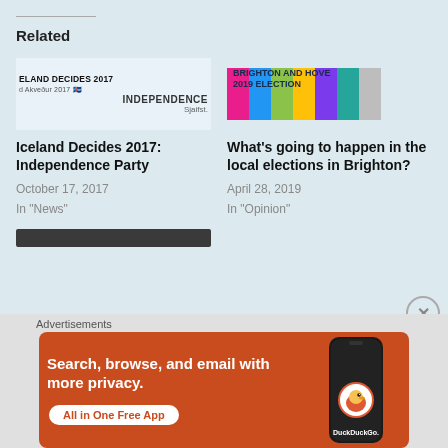Related
[Figure (illustration): Iceland Decides 2017 Independence Party article thumbnail with Icelandic flag]
Iceland Decides 2017: Independence Party
October 17, 2017
In "News"
[Figure (illustration): Brighton and Hove 2019 Election article thumbnail with colorful stripes]
What’s going to happen in the local elections in Brighton?
April 28, 2019
In "Opinion"
Advertisements
[Figure (illustration): DuckDuckGo advertisement: Search, browse, and email with more privacy. All in One Free App.]